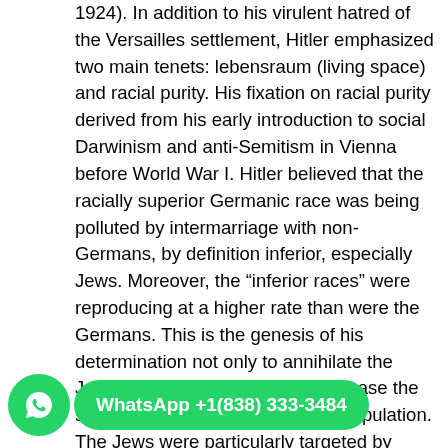1924). In addition to his virulent hatred of the Versailles settlement, Hitler emphasized two main tenets: lebensraum (living space) and racial purity. His fixation on racial purity derived from his early introduction to social Darwinism and anti-Semitism in Vienna before World War I. Hitler believed that the racially superior Germanic race was being polluted by intermarriage with non-Germans, by definition inferior, especially Jews. Moreover, the “inferior races” were reproducing at a higher rate than were the Germans. This is the genesis of his determination not only to annihilate the Jews (and others) but also to increase the size of the racially pure German population. The Jews were particularly targeted by Hitler and the Nazis with if not positive support at least passive acceptance by a substantial portion of the German population. Throughout the 1920s, gangs of Nazis (“Brown Shirts”) frequently and viciously attacked Jews, both in their person and their property. Once the Nazis were in power, attacks on Jews became more legalistic: Jews were excluded from government jobs and licensed professions (law, medicine, etc.), ultimately stripped of their German citizenship. The [implementation of these laws], were a major step on the path to the Final Solution, as Hitler’s plan to eradicate